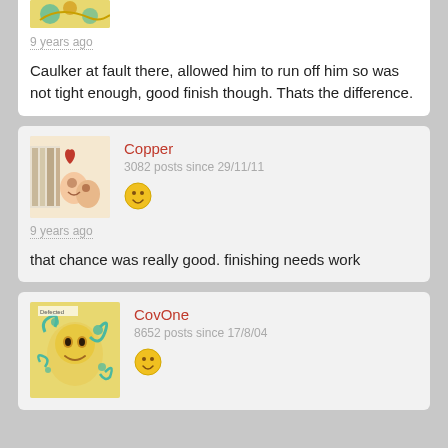[Figure (photo): Partial avatar image at top of page, cropped]
9 years ago
Caulker at fault there, allowed him to run off him so was not tight enough, good finish though. Thats the difference.
[Figure (photo): Avatar image: photo of two children with a heart graphic]
Copper
3082 posts since 29/11/11
[Figure (illustration): Yellow smiley face emoji]
9 years ago
that chance was really good. finishing needs work
[Figure (illustration): Avatar image: colorful artistic face illustration with teal swirls]
CovOne
8652 posts since 17/8/04
[Figure (illustration): Yellow smiley face emoji]